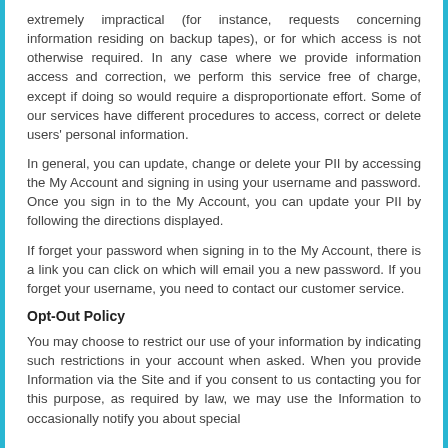extremely impractical (for instance, requests concerning information residing on backup tapes), or for which access is not otherwise required. In any case where we provide information access and correction, we perform this service free of charge, except if doing so would require a disproportionate effort. Some of our services have different procedures to access, correct or delete users' personal information.
In general, you can update, change or delete your PII by accessing the My Account and signing in using your username and password. Once you sign in to the My Account, you can update your PII by following the directions displayed.
If forget your password when signing in to the My Account, there is a link you can click on which will email you a new password. If you forget your username, you need to contact our customer service.
Opt-Out Policy
You may choose to restrict our use of your information by indicating such restrictions in your account when asked. When you provide Information via the Site and if you consent to us contacting you for this purpose, as required by law, we may use the Information to occasionally notify you about special